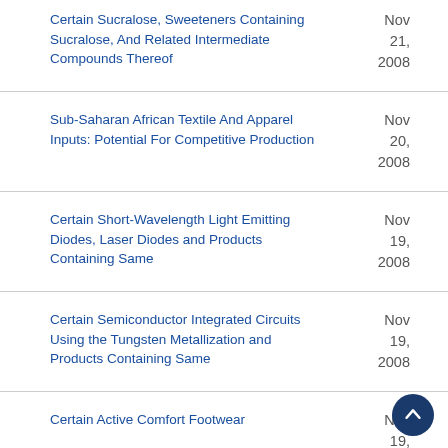Certain Sucralose, Sweeteners Containing Sucralose, And Related Intermediate Compounds Thereof
Sub-Saharan African Textile And Apparel Inputs: Potential For Competitive Production
Certain Short-Wavelength Light Emitting Diodes, Laser Diodes and Products Containing Same
Certain Semiconductor Integrated Circuits Using the Tungsten Metallization and Products Containing Same
Certain Active Comfort Footwear